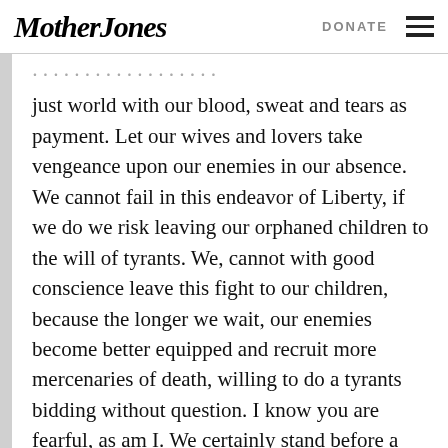Mother Jones  DONATE
just world with our blood, sweat and tears as payment. Let our wives and lovers take vengeance upon our enemies in our absence. We cannot fail in this endeavor of Liberty, if we do we risk leaving our orphaned children to the will of tyrants. We, cannot with good conscience leave this fight to our children, because the longer we wait, our enemies become better equipped and recruit more mercenaries of death, willing to do a tyrants bidding without question. I know you are fearful, as am I. We certainly stand before a great and powerful enemy. I, however would rather die fighting for freedom, than live on